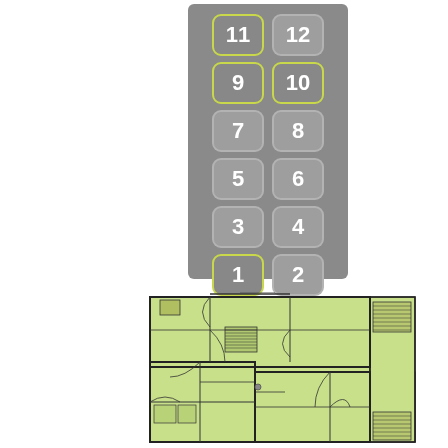[Figure (schematic): Elevator floor selector panel showing numbered buttons 1-12 arranged in two columns. Buttons 1, 9, 10, and 11 are highlighted with a yellow-green border. The panel has a gray background. Button layout from top to bottom: row 11-12, 9-10, 7-8, 5-6, 3-4, 1-2.]
[Figure (engineering-diagram): Architectural floor plan showing an L-shaped floor layout. The highlighted (light green) area shows apartment units with interior walls, doors, stairs, and room divisions. The plan includes what appears to be a stairwell/elevator core and multiple residential units.]